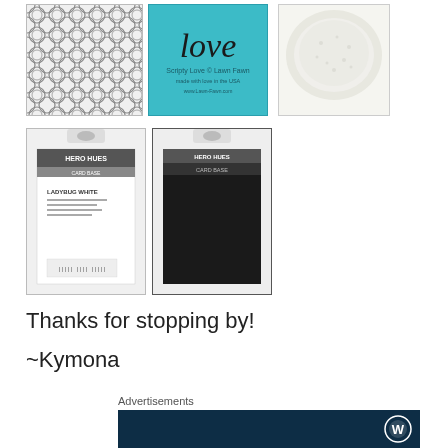[Figure (photo): Grid of craft supply product images: geometric embossing folder, Lawn Fawn Scripty Love die, white embossing powder, Hero Hues white cardstock package, Hero Hues black cardstock package]
Thanks for stopping by!
~Kymona
Advertisements
[Figure (logo): WordPress.com dark navy advertisement banner with WordPress logo]